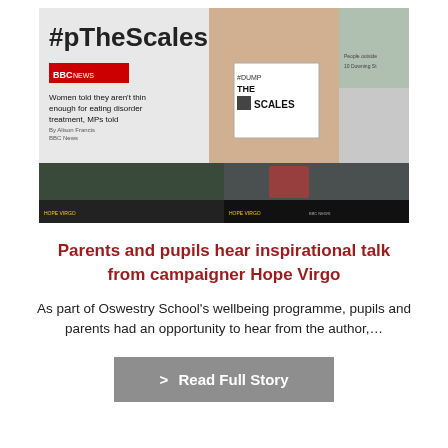[Figure (photo): A collage of images related to the #DumpTheScales campaign: BBC News article 'Women told they aren't thin enough for eating disorder treatment, MPs told', a woman holding a '#DUMP THE SCALES' sign, people outside 10 Downing Street, and two TV news interview screenshots featuring a woman in red identified as Hope Virgo.]
Parents and pupils hear inspirational talk from campaigner Hope Virgo
As part of Oswestry School's wellbeing programme, pupils and parents had an opportunity to hear from the author,…
> Read Full Story